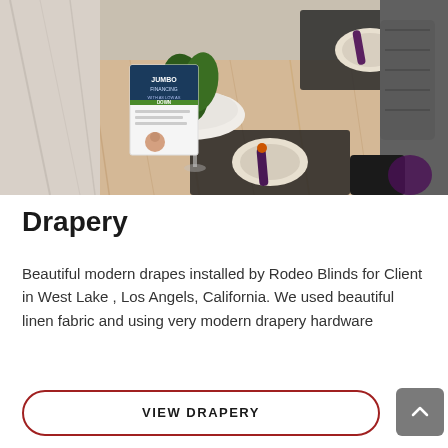[Figure (photo): Interior photo of a modern dining area showing a wooden table set with plates, wine glasses, dark placemats, and a napkin folded in a dark roll. A white bowl with greenery is visible, along with a 'JUMBO FINANCING' real estate brochure propped on the table. Dark chairs visible in background.]
Drapery
Beautiful modern drapes installed by Rodeo Blinds for Client in West Lake , Los Angels, California. We used beautiful linen fabric and using very modern drapery hardware
VIEW DRAPERY